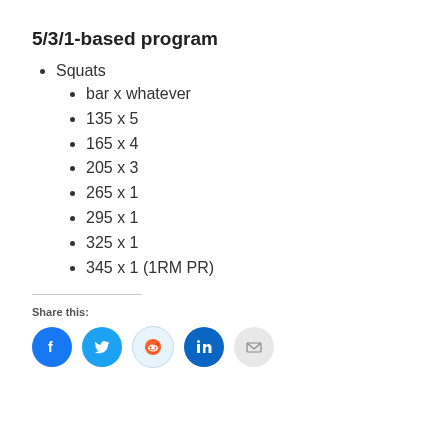5/3/1-based program
Squats
bar x whatever
135 x 5
165 x 4
205 x 3
265 x 1
295 x 1
325 x 1
345 x 1 (1RM PR)
Share this: